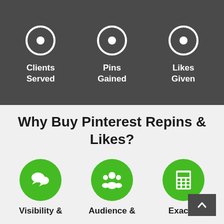[Figure (infographic): Dark gray banner with three circular ring icons and labels: Clients Served, Pins Gained, Likes Given]
Why Buy Pinterest Repins & Likes?
[Figure (infographic): Three green circle icons representing features: chat/speech bubbles (Visibility &), group of people (Audience &), calculator (Exactly)]
Visibility &
Audience &
Exactly